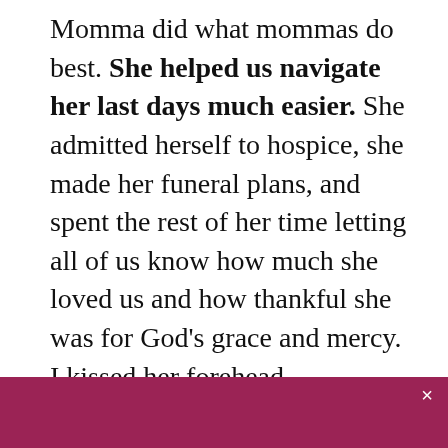Momma did what mommas do best. She helped us navigate her last days much easier. She admitted herself to hospice, she made her funeral plans, and spent the rest of her time letting all of us know how much she loved us and how thankful she was for God's grace and mercy. I kissed her forehead countless times and told her how much I loved her. You are wonderful it would be was ever wanted to do. Talk of heaven and how wonderful it would be was ever present on
[Figure (screenshot): Cookie consent banner overlay with dark red/maroon background. Contains message 'This website uses cookies to ensure you get the best experience on our website.' with Decline and Accept buttons. An X close button appears in the top right corner of the banner.]